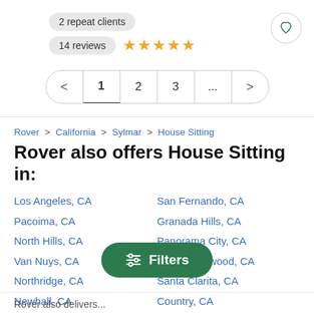2 repeat clients
14 reviews ★★★★★
Pagination: < 1 2 3 ... >
Rover > California > Sylmar > House Sitting
Rover also offers House Sitting in:
Los Angeles, CA
Pacoima, CA
North Hills, CA
Van Nuys, CA
Northridge, CA
Newhall, CA
San Fernando, CA
Granada Hills, CA
Panorama City, CA
North Hollywood, CA
Santa Clarita, CA
Country, CA